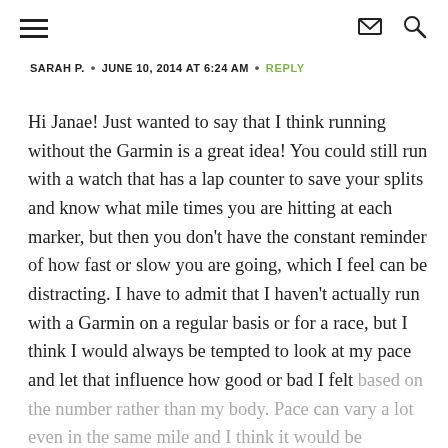≡  ✉  🔍
SARAH P.  •  JUNE 10, 2014 AT 6:24 AM  •  REPLY
Hi Janae! Just wanted to say that I think running without the Garmin is a great idea! You could still run with a watch that has a lap counter to save your splits and know what mile times you are hitting at each marker, but then you don't have the constant reminder of how fast or slow you are going, which I feel can be distracting. I have to admit that I haven't actually run with a Garmin on a regular basis or for a race, but I think I would always be tempted to look at my pace and let that influence how good or bad I felt based on the number rather than my body. Pace can vary a lot even in the same mile and I think it would be